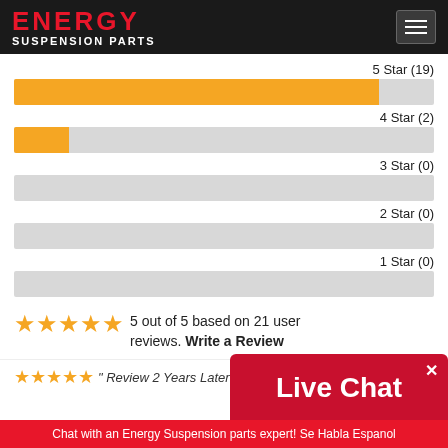ENERGY SUSPENSION PARTS
[Figure (bar-chart): Star Ratings]
5 out of 5 based on 21 user reviews. Write a Review
"Review 2 Years Later"
Live Chat
Chat with an Energy Suspension parts expert! Se Habla Espanol